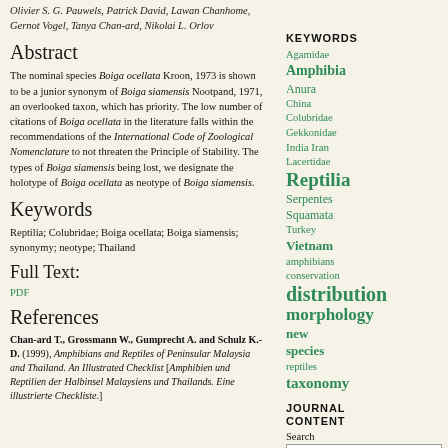Olivier S. G. Pauwels, Patrick David, Lawan Chanhome, Gernot Vogel, Tanya Chan-ard, Nikolai L. Orlov
Abstract
The nominal species Boiga ocellata Kroon, 1973 is shown to be a junior synonym of Boiga siamensis Nootpand, 1971, an overlooked taxon, which has priority. The low number of citations of Boiga ocellata in the literature falls within the recommendations of the International Code of Zoological Nomenclature to not threaten the Principle of Stability. The types of Boiga siamensis being lost, we designate the holotype of Boiga ocellata as neotype of Boiga siamensis.
Keywords
Reptilia; Colubridae; Boiga ocellata; Boiga siamensis; synonymy; neotype; Thailand
Full Text:
PDF
References
Chan-ard T., Grossmann W., Gumprecht A. and Schulz K.-D. (1999), Amphibians and Reptiles of Peninsular Malaysia and Thailand. An Illustrated Checklist [Amphibien und Reptilien der Halbinsel Malaysiens und Thailands. Eine illustrierte Checkliste].
KEYWORDS
Agamidae
Amphibia
Anura
China
Colubridae
Gekkonidae
India Iran
Lacertidae
Reptilia
Serpentes
Squamata
Turkey
Vietnam
amphibians
conservation
distribution
morphology
new
species
reptiles
taxonomy
JOURNAL CONTENT
Search
Search Scope
All
Search